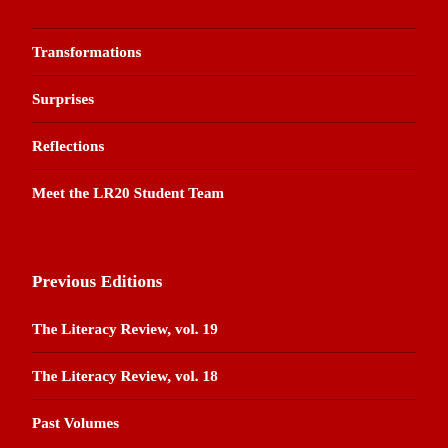Transformations
Surprises
Reflections
Meet the LR20 Student Team
Previous Editions
The Literacy Review, vol. 19
The Literacy Review, vol. 18
Past Volumes